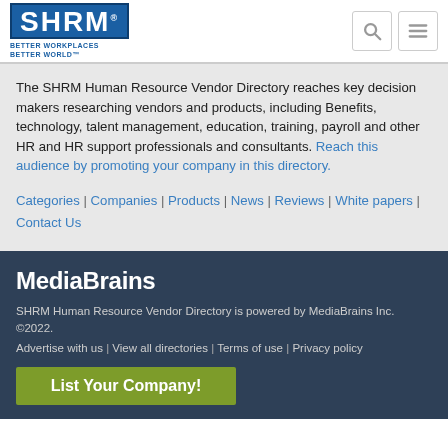SHRM BETTER WORKPLACES BETTER WORLD™
The SHRM Human Resource Vendor Directory reaches key decision makers researching vendors and products, including Benefits, technology, talent management, education, training, payroll and other HR and HR support professionals and consultants. Reach this audience by promoting your company in this directory.
Categories | Companies | Products | News | Reviews | White papers | Contact Us
MediaBrains
SHRM Human Resource Vendor Directory is powered by MediaBrains Inc. ©2022.
Advertise with us | View all directories | Terms of use | Privacy policy
List Your Company!